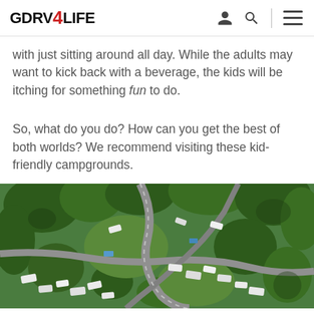GDRV4LIFE
with just sitting around all day. While the adults may want to kick back with a beverage, the kids will be itching for something fun to do.
So, what do you do? How can you get the best of both worlds? We recommend visiting these kid-friendly campgrounds.
[Figure (photo): Aerial drone photo of a campground showing RVs and vehicles parked among green trees, with roads winding through the site.]